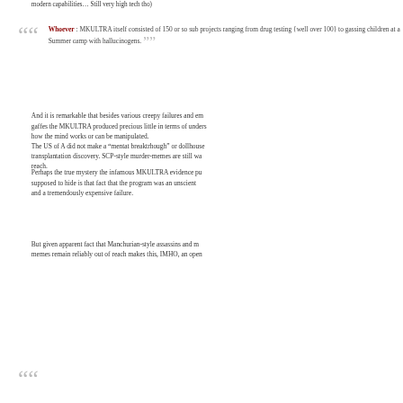modern capabilities… Still very high tech tho)
Whoever: MKULTRA itself consisted of 150 or so sub projects ranging from drug testing {well over 100} to gassing children at a Summer camp with hallucinogens.
And it is remarkable that besides various creepy failures and embarrassing gaffes the MKULTRA produced precious little in terms of understanding how the mind works or can be manipulated.
The US of A did not make a "mentat breaktrhough" or dollhouse/memory transplantation discovery. SCP-style murder-memes are still way out of reach.
Perhaps the true mystery the infamous MKULTRA evidence purge was supposed to hide is that fact that the program was an unscientific mess and a tremendously expensive failure.
But given apparent fact that Manchurian-style assassins and murder-memes remain reliably out of reach makes this, IMHO, an open question.